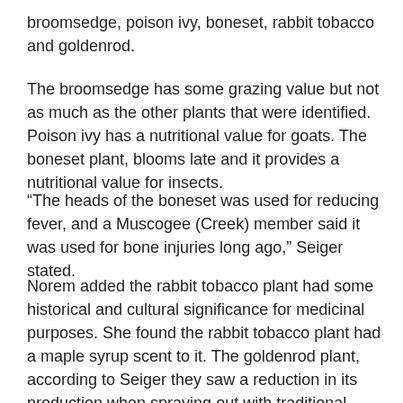broomsedge, poison ivy, boneset, rabbit tobacco and goldenrod.
The broomsedge has some grazing value but not as much as the other plants that were identified. Poison ivy has a nutritional value for goats. The boneset plant, blooms late and it provides a nutritional value for insects.
“The heads of the boneset was used for reducing fever, and a Muscogee (Creek) member said it was used for bone injuries long ago,” Seiger stated.
Norem added the rabbit tobacco plant had some historical and cultural significance for medicinal purposes. She found the rabbit tobacco plant had a maple syrup scent to it. The goldenrod plant, according to Seiger they saw a reduction in its production when spraying out with traditional farming practices.